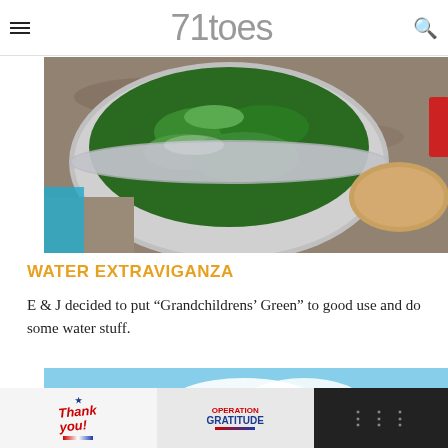71toes
[Figure (photo): Close-up photo of a large metal bowl filled with green salad, placed on a granite countertop with bread and a red cup visible beside it.]
WATER EXTRAVIGANZA
E & J decided to put “Grandchildrens’ Green” to good use and do some water stuff.
[Figure (photo): Outdoor photo of people playing with water balloons on a grassy area with brown hills and blue sky in the background. People wearing colorful shorts and swimwear.]
[Figure (photo): Advertisement banner: Thank you with American flag star graphic on left, Operation Gratitude logo in middle, dark panel on right.]